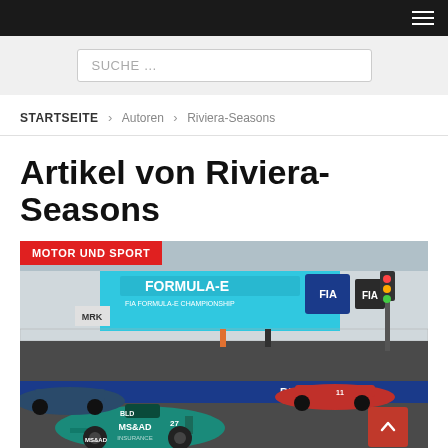Navigation menu icon (hamburger)
SUCHE …
STARTSEITE > Autoren > Riviera-Seasons
Artikel von Riviera-Seasons
[Figure (photo): Formula E racing cars on track at a street circuit. A teal/green Formula E car with MS&AD Insurance branding (number 27) races in the foreground, with other cars visible. Background shows large Formula-E championship banners in cyan/blue and a FIA logo. Julius Baer advertising boards are visible at trackside. A red tag reads MOTOR UND SPORT.]